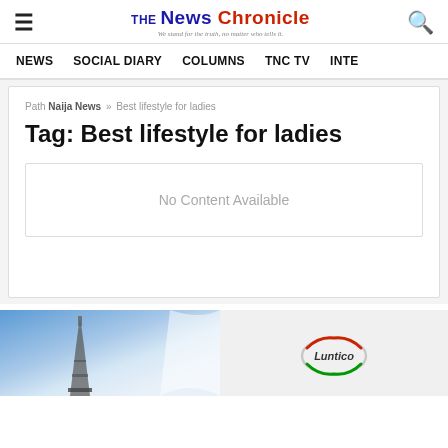The News Chronicle – We stand for the truth, no matter who tells it.
NEWS   SOCIAL DIARY   COLUMNS   TNC TV   INTE...
Path Naija News » Best lifestyle for ladies
Tag: Best lifestyle for ladies
No Content Available
[Figure (photo): Advertisement banner showing a tower image on the left with blue sky background and a Luntico logo on the right]